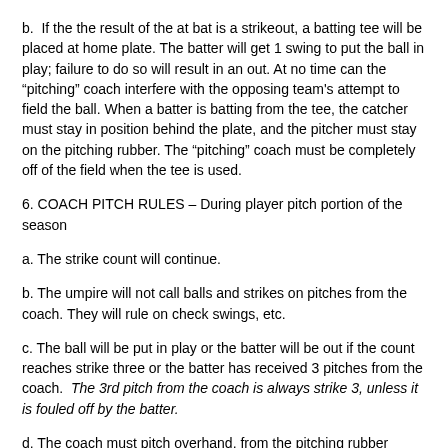b.  If the the result of the at bat is a strikeout, a batting tee will be placed at home plate. The batter will get 1 swing to put the ball in play; failure to do so will result in an out. At no time can the “pitching” coach interfere with the opposing team's attempt to field the ball. When a batter is batting from the tee, the catcher must stay in position behind the plate, and the pitcher must stay on the pitching rubber. The “pitching” coach must be completely off of the field when the tee is used.
6. COACH PITCH RULES – During player pitch portion of the season
a. The strike count will continue.
b. The umpire will not call balls and strikes on pitches from the coach. They will rule on check swings, etc.
c. The ball will be put in play or the batter will be out if the count reaches strike three or the batter has received 3 pitches from the coach.  The 3rd pitch from the coach is always strike 3, unless it is fouled off by the batter.
d. The coach must pitch overhand, from the pitching rubber standing in an upright position.